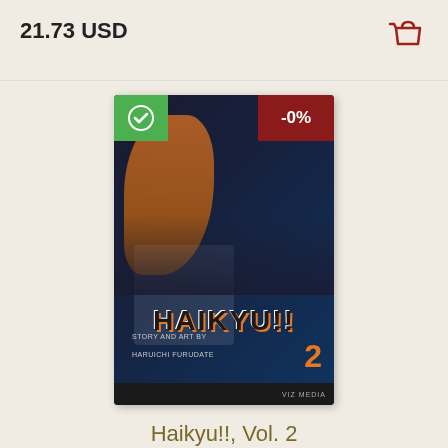21.73 USD
[Figure (illustration): Shopping bag / cart icon in dark red outline style]
[Figure (photo): Haikyu!! Vol. 2 manga book cover showing anime volleyball players with green checkmark badge and -0% discount badge]
Haikyu!!, Vol. 2
9.97 USD
9.99 USD
[Figure (illustration): Shopping bag / cart icon in dark red outline style]
[Figure (illustration): Hamburger menu button with three horizontal lines on dark background]